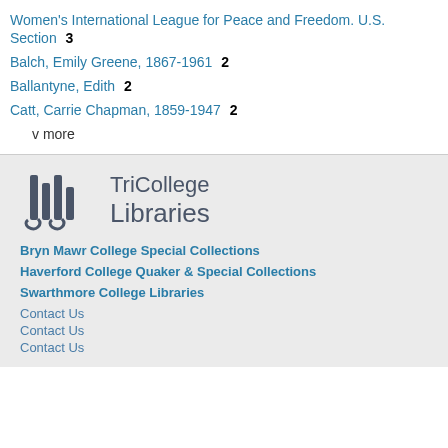Women's International League for Peace and Freedom. U.S. Section 3
Balch, Emily Greene, 1867-1961 2
Ballantyne, Edith 2
Catt, Carrie Chapman, 1859-1947 2
v more
[Figure (logo): TriCollege Libraries logo with stylized architectural columns icon and text TriCollege Libraries]
Bryn Mawr College Special Collections
Haverford College Quaker & Special Collections
Swarthmore College Libraries
Contact Us
Contact Us
Contact Us